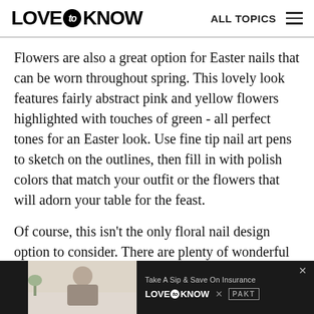LOVE to KNOW  ALL TOPICS
Flowers are also a great option for Easter nails that can be worn throughout spring. This lovely look features fairly abstract pink and yellow flowers highlighted with touches of green - all perfect tones for an Easter look. Use fine tip nail art pens to sketch on the outlines, then fill in with polish colors that match your outfit or the flowers that will adorn your table for the feast.
Of course, this isn't the only floral nail design option to consider. There are plenty of wonderful nail designs with flowers that would be perfect for
[Figure (photo): Advertisement banner at bottom of page showing a woman sitting on a couch, with LoveToKnow x PAKT branding and 'Take A Sip & Save On Insurance' tagline]